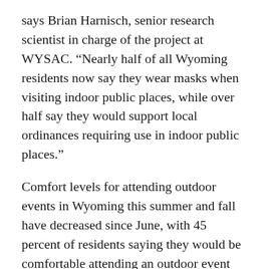says Brian Harnisch, senior research scientist in charge of the project at WYSAC. “Nearly half of all Wyoming residents now say they wear masks when visiting indoor public places, while over half say they would support local ordinances requiring use in indoor public places.”
Comfort levels for attending outdoor events in Wyoming this summer and fall have decreased since June, with 45 percent of residents saying they would be comfortable attending an outdoor event with up to 250 people — down from 56 percent in June. When considering outdoor events with more than 250 people, 40 percent of residents say they would be comfortable attending — down from 52 percent in June.